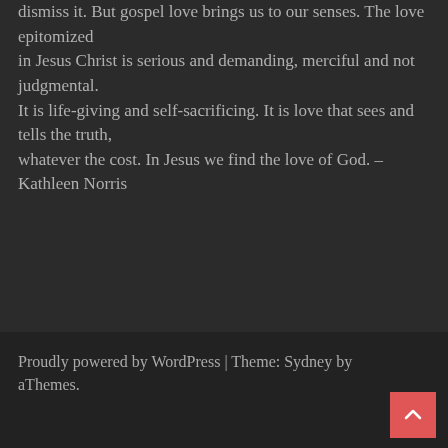dismiss it. But gospel love brings us to our senses. The love epitomized in Jesus Christ is serious and demanding, merciful and not judgmental. It is life-giving and self-sacrificing. It is love that sees and tells the truth, whatever the cost. In Jesus we find the love of God. – Kathleen Norris
Proudly powered by WordPress | Theme: Sydney by aThemes.